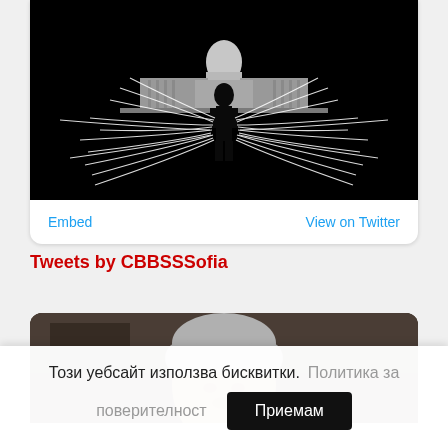[Figure (illustration): Black and white dramatic illustration of a silhouetted figure standing before the US Capitol building with glowing white tendrils or lightning radiating outward]
Embed    View on Twitter
Tweets by CBBSSSofia
[Figure (photo): Partial photo of an elderly man with grey hair, appears to be a portrait/headshot]
Този уебсайт използва бисквитки.    Политика за поверителност    Приемам